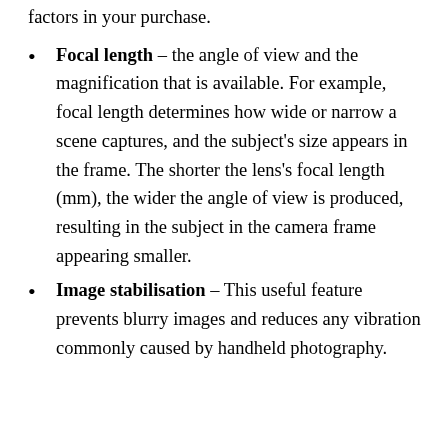factors in your purchase.
Focal length – the angle of view and the magnification that is available. For example, focal length determines how wide or narrow a scene captures, and the subject's size appears in the frame. The shorter the lens's focal length (mm), the wider the angle of view is produced, resulting in the subject in the camera frame appearing smaller.
Image stabilisation – This useful feature prevents blurry images and reduces any vibration commonly caused by handheld photography.